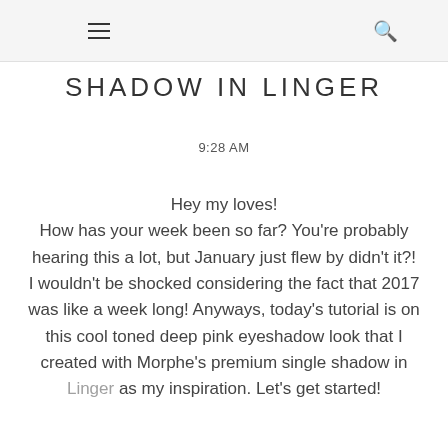☰  🔍
SHADOW IN LINGER
9:28 AM
Hey my loves! How has your week been so far? You're probably hearing this a lot, but January just flew by didn't it?! I wouldn't be shocked considering the fact that 2017 was like a week long! Anyways, today's tutorial is on this cool toned deep pink eyeshadow look that I created with Morphe's premium single shadow in Linger as my inspiration. Let's get started!